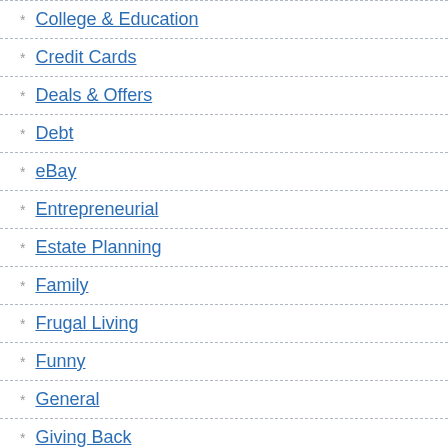College & Education
Credit Cards
Deals & Offers
Debt
eBay
Entrepreneurial
Estate Planning
Family
Frugal Living
Funny
General
Giving Back
Goals